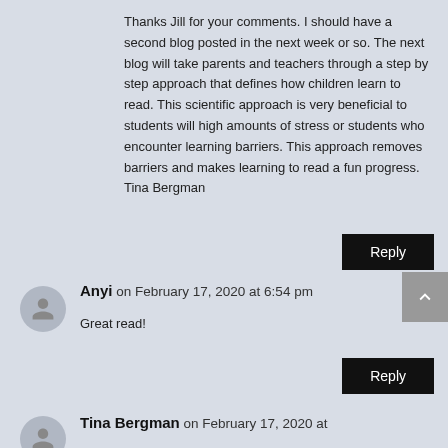Thanks Jill for your comments. I should have a second blog posted in the next week or so. The next blog will take parents and teachers through a step by step approach that defines how children learn to read. This scientific approach is very beneficial to students will high amounts of stress or students who encounter learning barriers. This approach removes barriers and makes learning to read a fun progress.
Tina Bergman
Reply
Anyi on February 17, 2020 at 6:54 pm
Great read!
Reply
Tina Bergman on February 17, 2020 at